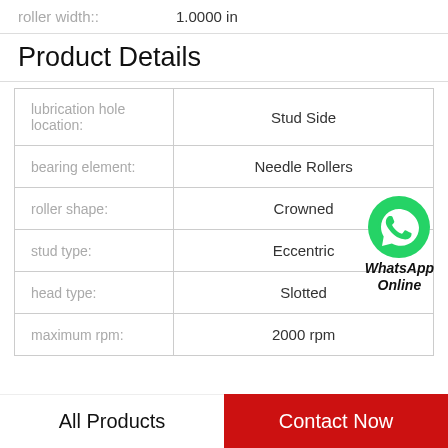roller width:: 1.0000 in
Product Details
| Property | Value |
| --- | --- |
| lubrication hole location: | Stud Side |
| bearing element: | Needle Rollers |
| roller shape: | Crowned |
| stud type: | Eccentric |
| head type: | Slotted |
| maximum rpm: | 2000 rpm |
[Figure (logo): WhatsApp Online green phone icon with text 'WhatsApp Online']
All Products
Contact Now